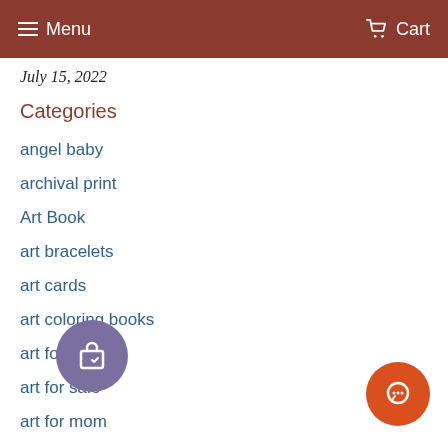Menu  Cart
July 15, 2022
Categories
angel baby
archival print
Art Book
art bracelets
art cards
art coloring books
art for charity
art for sale
art for mom
art
art magnets